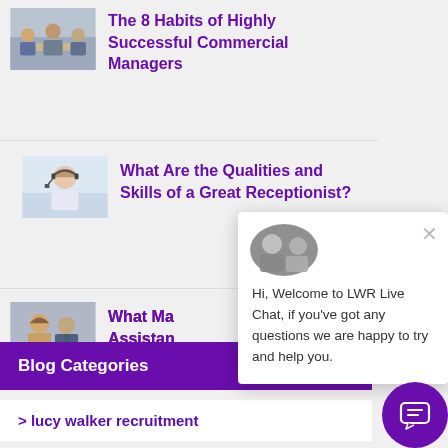[Figure (photo): Thumbnail image of people in a meeting room]
The 8 Habits of Highly Successful Commercial Managers
[Figure (photo): Thumbnail image of a receptionist/woman with headset]
What Are the Qualities and Skills of a Great Receptionist?
[Figure (photo): Thumbnail image of a woman and man for assistant article]
What Ma... Assistan...
[Figure (screenshot): LWR Live Chat popup with avatar photo and welcome message: Hi, Welcome to LWR Live Chat, if you've got any questions we are happy to try and help you.]
Blog Categories
> lucy walker recruitment